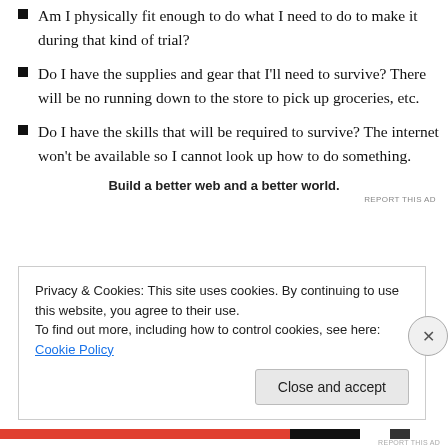Am I physically fit enough to do what I need to do to make it during that kind of trial?
Do I have the supplies and gear that I'll need to survive? There will be no running down to the store to pick up groceries, etc.
Do I have the skills that will be required to survive? The internet won't be available so I cannot look up how to do something.
Build a better web and a better world.
REPORT THIS AD
Privacy & Cookies: This site uses cookies. By continuing to use this website, you agree to their use.
To find out more, including how to control cookies, see here: Cookie Policy
Close and accept
REPORT THIS AD